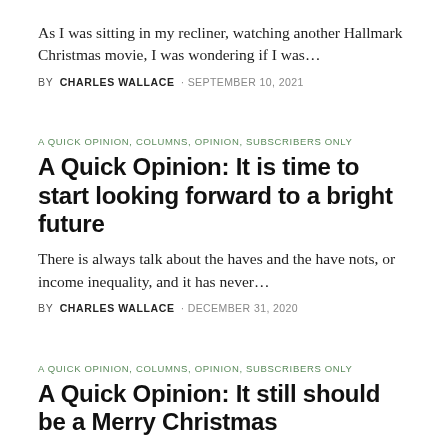As I was sitting in my recliner, watching another Hallmark Christmas movie, I was wondering if I was…
BY CHARLES WALLACE · SEPTEMBER 10, 2021
A QUICK OPINION, COLUMNS, OPINION, SUBSCRIBERS ONLY
A Quick Opinion: It is time to start looking forward to a bright future
There is always talk about the haves and the have nots, or income inequality, and it has never…
BY CHARLES WALLACE · DECEMBER 31, 2020
A QUICK OPINION, COLUMNS, OPINION, SUBSCRIBERS ONLY
A Quick Opinion: It still should be a Merry Christmas